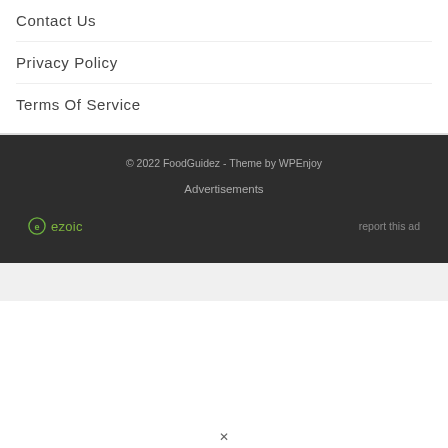Contact Us
Privacy Policy
Terms Of Service
© 2022 FoodGuidez - Theme by WPEnjoy
Advertisements
[Figure (logo): Ezoic logo with circular green icon and 'ezoic' text]
report this ad